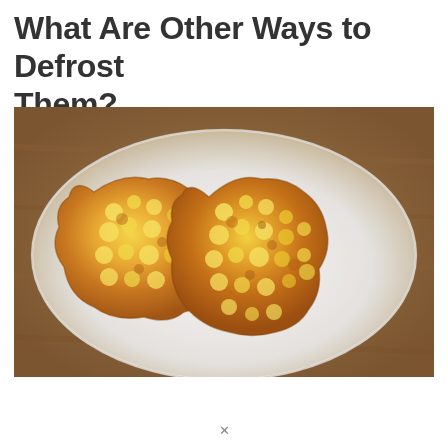What Are Other Ways to Defrost Them?
[Figure (photo): Two golden-brown fried corn fritters or nuggets on a white ceramic plate, photographed from above on a wooden surface.]